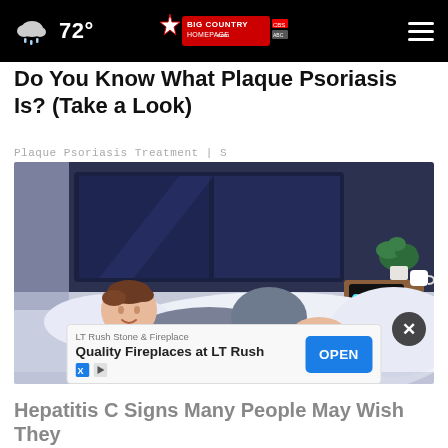72° Big Country Homepage.com
Do You Know What Plaque Psoriasis Is? (Take a Look)
Plaque Psoriasis Treatment | S
[Figure (illustration): Cartoon illustration of a man lying on a bed in a bedroom, looking at his leg which shows skin irritation/psoriasis patches. A nightstand with a digital clock showing 01:37 and a plant are visible in the background.]
LT Rush Stone & Fireplace
Quality Fireplaces at LT Rush
Hepatitis C Signs Many People May Wish They